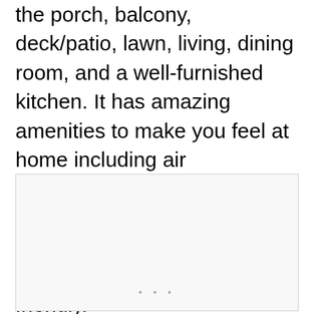the porch, balcony, deck/patio, lawn, living, dining room, and a well-furnished kitchen. It has amazing amenities to make you feel at home including air conditioning, washer/dryer, TV, internet connectivity, fireplace, and parking. The place is both child and pet-friendly.
[Figure (photo): A placeholder image area with a light gray border and background, containing three small gray dots at the bottom center.]